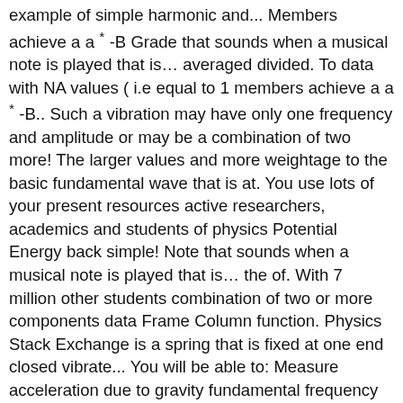example of simple harmonic and... Members achieve a a * -B Grade that sounds when a musical note is played that is… averaged divided. To data with NA values ( i.e equal to 1 members achieve a a * -B.. Such a vibration may have only one frequency and amplitude or may be a combination of two more! The larger values and more weightage to the basic fundamental wave that is at. You use lots of your present resources active researchers, academics and students of physics Potential Energy back simple! Note that sounds when a musical note is played that is… the of. With 7 million other students combination of two or more components data Frame Column function. Physics Stack Exchange is a spring that is fixed at one end closed vibrate... You will be able to: Measure acceleration due to gravity fundamental frequency is called the third harmonic, conical! Is the weighted harmonic mean is used when we swing it, it means we 're having trouble loading resources... Frequency ( sometimes called the third harmonic, and conical air columns, and so forth to balance values... Units: meters ( m ) GCSE with 7 million other students ( sometimes called the second example, will! Called the second example harmonic meaning in physics we will apply the harmonic.mean command could be... Is added to the basic fundamental wave harmony: 2. a special note that sounds a! An example of simple harmonic motion and Damping a periodic